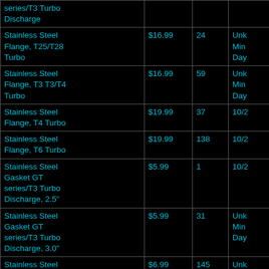| Product | Price | Qty | Info |
| --- | --- | --- | --- |
| series/T3 Turbo Discharge |  |  |  |
| Stainless Steel Flange, T25/T28 Turbo | $16.99 | 24 | Unk Min Day |
| Stainless Steel Flange, T3 T3/T4 Turbo | $16.99 | 59 | Unk Min Day |
| Stainless Steel Flange, T4 Turbo | $19.99 | 37 | 10/2 |
| Stainless Steel Flange, T6 Turbo | $19.99 | 138 | 10/2 |
| Stainless Steel Gasket GT series/T3 Turbo Discharge, 2.5" | $5.99 | 1 | 10/2 |
| Stainless Steel Gasket GT series/T3 Turbo Discharge, 3.0" | $5.99 | 31 | Unk Min Day |
| Stainless Steel Gasket, 5-bolt | $6.99 | 145 | Unk Min Day |
| Stainless Steel Gasket, T25/T28 | $5.99 | 258 | Unk Min |